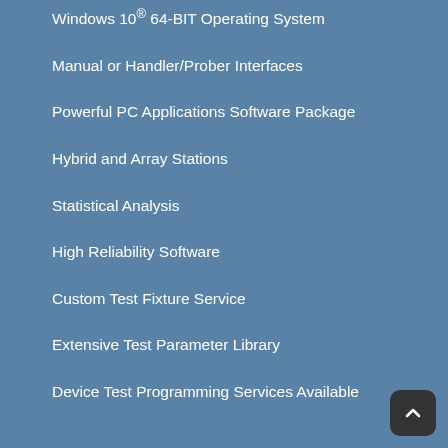Windows 10® 64-BIT Operating System
Manual or Handler/Prober Interfaces
Powerful PC Applications Software Package
Hybrid and Array Stations
Statistical Analysis
High Reliability Software
Custom Test Fixture Service
Extensive Test Parameter Library
Device Test Programming Services Available